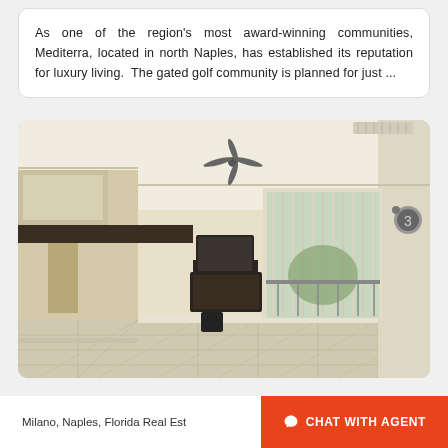As one of the region's most award-winning communities, Mediterra, located in north Naples, has established its reputation for luxury living.  The gated golf community is planned for just ...
[Figure (photo): Interior photo of a bright, spacious living room with tile floors, a ceiling fan, sliding glass doors leading to a balcony, a wall-mounted TV on a dark media console, and a kitchen counter visible on the left.]
Milano, Naples, Florida Real Est
CHAT WITH AGENT